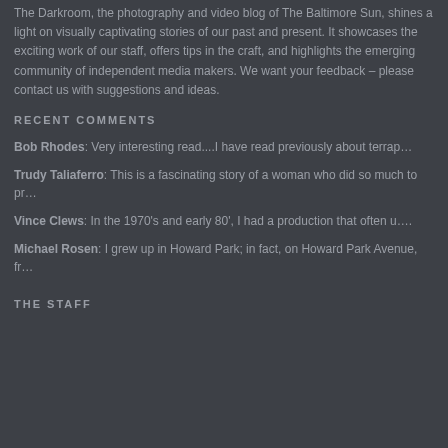The Darkroom, the photography and video blog of The Baltimore Sun, shines a light on visually captivating stories of our past and present. It showcases the exciting work of our staff, offers tips in the craft, and highlights the emerging community of independent media makers. We want your feedback – please contact us with suggestions and ideas.
RECENT COMMENTS
Bob Rhodes: Very interesting read....I have read previously about terrap…
Trudy Taliaferro: This is a fascinating story of a woman who did so much to pr…
Vince Clews: In the 1970's and early 80', I had a production that often u….
Michael Rosen: I grew up in Howard Park; in fact, on Howard Park Avenue, fr…
THE STAFF